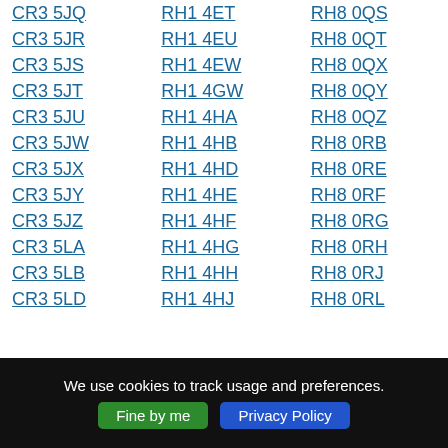CR3 5JQ
CR3 5JR
CR3 5JS
CR3 5JT
CR3 5JU
CR3 5JW
CR3 5JX
CR3 5JY
CR3 5JZ
CR3 5LA
CR3 5LB
CR3 5LD
RH1 4ET
RH1 4EU
RH1 4EW
RH1 4GW
RH1 4HA
RH1 4HB
RH1 4HD
RH1 4HE
RH1 4HF
RH1 4HG
RH1 4HH
RH1 4HJ
RH8 0QS
RH8 0QT
RH8 0QX
RH8 0QY
RH8 0QZ
RH8 0RB
RH8 0RE
RH8 0RF
RH8 0RG
RH8 0RH
RH8 0RJ
RH8 0RL
We use cookies to track usage and preferences.
Fine by me
Privacy Policy